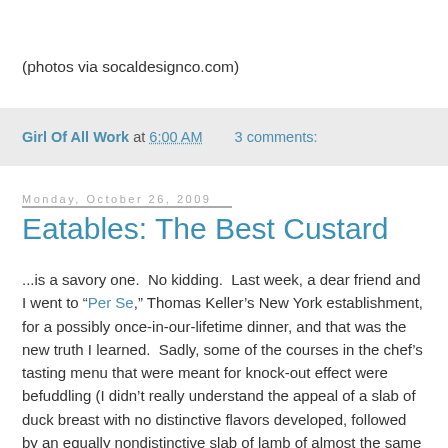(photos via socaldesignco.com)
Girl Of All Work at 6:00 AM    3 comments:
Monday, October 26, 2009
Eatables: The Best Custard
...is a savory one.  No kidding.  Last week, a dear friend and I went to "Per Se," Thomas Keller's New York establishment, for a possibly once-in-our-lifetime dinner, and that was the new truth I learned.  Sadly, some of the courses in the chef's tasting menu that were meant for knock-out effect were befuddling (I didn't really understand the appeal of a slab of duck breast with no distinctive flavors developed, followed by an equally nondistinctive slab of lamb of almost the same texture), but a few courses were bright stars.  My favorite of the evening was the "Oysters and Pearls," a "sabayon" (in